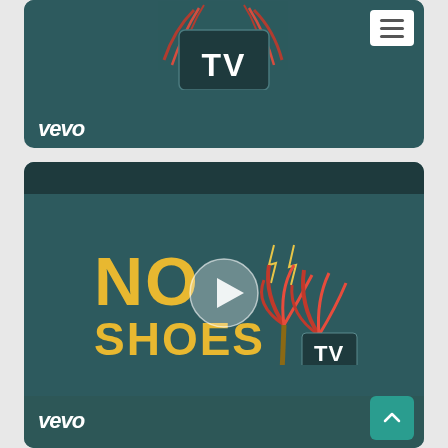[Figure (screenshot): Top video card showing Vevo No Shoes TV thumbnail with partial logo visible at top, vevo branding at bottom left, and hamburger menu button at top right. Teal/dark green background.]
[Figure (screenshot): Bottom video card showing Vevo No Shoes TV video with play button overlay. 'NO SHOES TV' logo in yellow and white lettering with palm tree graphic. Vevo branding at bottom left. Back-to-top button at bottom right.]